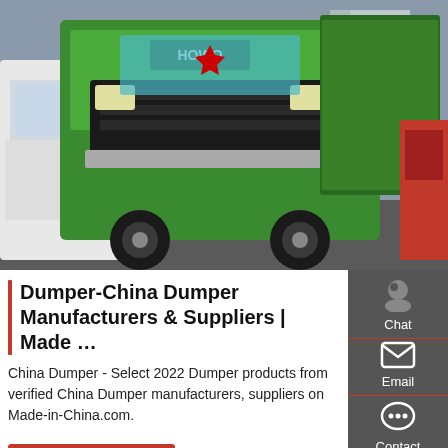[Figure (photo): Green HOWO dump truck photographed from low angle, with white trucks in background and a red truck partially visible on the right side. Industrial setting.]
Dumper-China Dumper Manufacturers & Suppliers | Made ...
China Dumper - Select 2022 Dumper products from verified China Dumper manufacturers, suppliers on Made-in-China.com.
Get a Quote